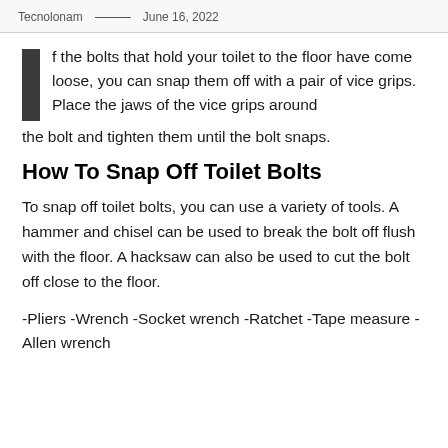Tecnolonam — June 16, 2022
f the bolts that hold your toilet to the floor have come loose, you can snap them off with a pair of vice grips. Place the jaws of the vice grips around the bolt and tighten them until the bolt snaps.
How To Snap Off Toilet Bolts
To snap off toilet bolts, you can use a variety of tools. A hammer and chisel can be used to break the bolt off flush with the floor. A hacksaw can also be used to cut the bolt off close to the floor.
-Pliers -Wrench -Socket wrench -Ratchet -Tape measure -Allen wrench